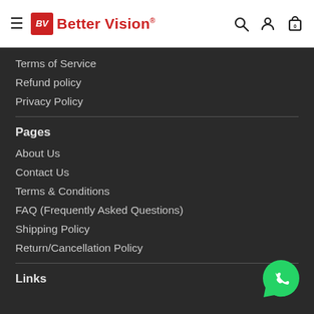Better Vision® [header with hamburger menu, search, account, cart icons]
Terms of Service
Refund policy
Privacy Policy
Pages
About Us
Contact Us
Terms & Conditions
FAQ (Frequently Asked Questions)
Shipping Policy
Return/Cancellation Policy
Links